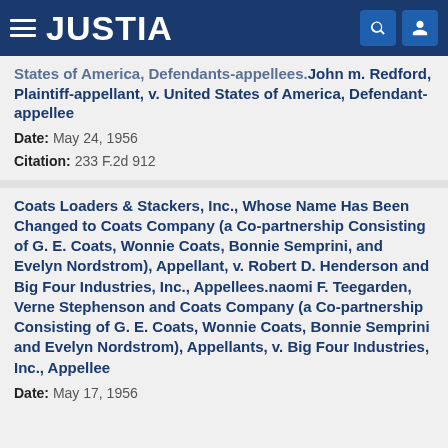JUSTIA
States of America, Defendants-appellees.John m. Redford, Plaintiff-appellant, v. United States of America, Defendant-appellee
Date: May 24, 1956
Citation: 233 F.2d 912
Coats Loaders & Stackers, Inc., Whose Name Has Been Changed to Coats Company (a Co-partnership Consisting of G. E. Coats, Wonnie Coats, Bonnie Semprini, and Evelyn Nordstrom), Appellant, v. Robert D. Henderson and Big Four Industries, Inc., Appellees.naomi F. Teegarden, Verne Stephenson and Coats Company (a Co-partnership Consisting of G. E. Coats, Wonnie Coats, Bonnie Semprini and Evelyn Nordstrom), Appellants, v. Big Four Industries, Inc., Appellee
Date: May 17, 1956